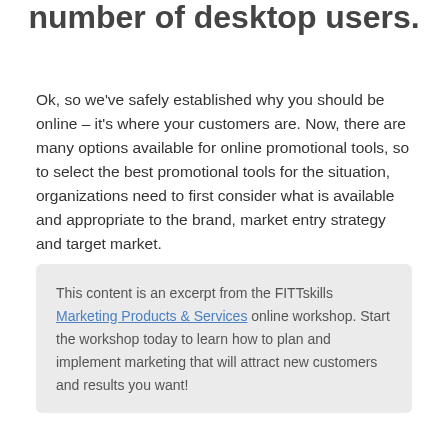number of desktop users.
Ok, so we've safely established why you should be online – it's where your customers are. Now, there are many options available for online promotional tools, so to select the best promotional tools for the situation, organizations need to first consider what is available and appropriate to the brand, market entry strategy and target market.
This content is an excerpt from the FITTskills Marketing Products & Services online workshop. Start the workshop today to learn how to plan and implement marketing that will attract new customers and results you want!